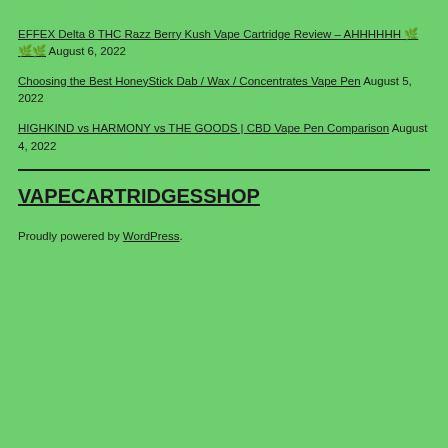EFFEX Delta 8 THC Razz Berry Kush Vape Cartridge Review – AHHHHHH 🌿🌿🌿 August 6, 2022
Choosing the Best HoneyStick Dab / Wax / Concentrates Vape Pen August 5, 2022
HIGHKIND vs HARMONY vs THE GOODS | CBD Vape Pen Comparison August 4, 2022
VAPECARTRIDGESSHOP
Proudly powered by WordPress.